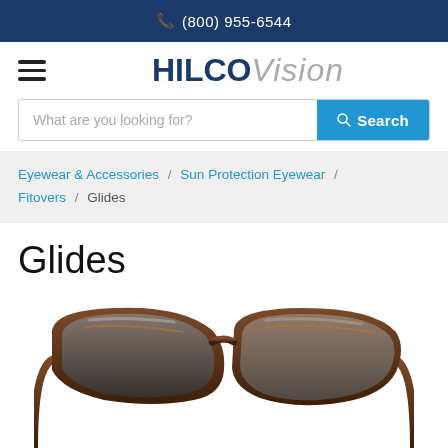(800) 955-6544
[Figure (logo): HilcoVision logo with hamburger menu icon]
What are you looking for?
Eyewear & Accessories / Sun Protection Eyewear / Fitovers / Glides
Glides
[Figure (photo): Brown wraparound fitover sunglasses with dark gradient lenses, viewed from slightly above]